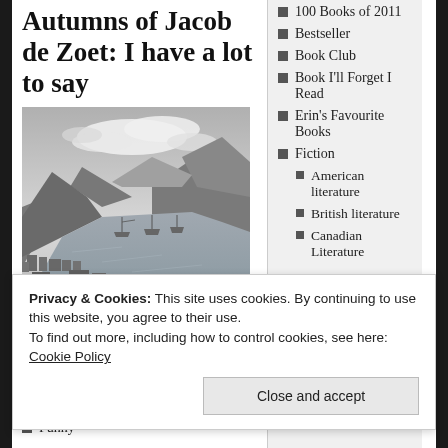Autumns of Jacob de Zoet: I have a lot to say
[Figure (illustration): Black and white historical engraving of a harbor town with mountains, ships, and a waterway, likely depicting Nagasaki, Japan.]
100 Books of 2011
Bestseller
Book Club
Book I'll Forget I Read
Erin's Favourite Books
Fiction
American literature
British literature
Canadian Literature
Privacy & Cookies: This site uses cookies. By continuing to use this website, you agree to their use.
To find out more, including how to control cookies, see here: Cookie Policy
Close and accept
Autumns of Jacob de Zoett, which opens
Funny